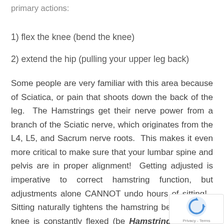primary actions:
1) flex the knee (bend the knee)
2) extend the hip (pulling your upper leg back)
Some people are very familiar with this area because of Sciatica, or pain that shoots down the back of the leg. The Hamstrings get their nerve power from a branch of the Sciatic nerve, which originates from the L4, L5, and Sacrum nerve roots. This makes it even more critical to make sure that your lumbar spine and pelvis are in proper alignment! Getting adjusted is imperative to correct hamstring function, but adjustments alone CANNOT undo hours of sitting! Sitting naturally tightens the hamstring because your knee is constantly flexed (be Hamstring stretches should be done daily if you someone who spends more than a couple hours per